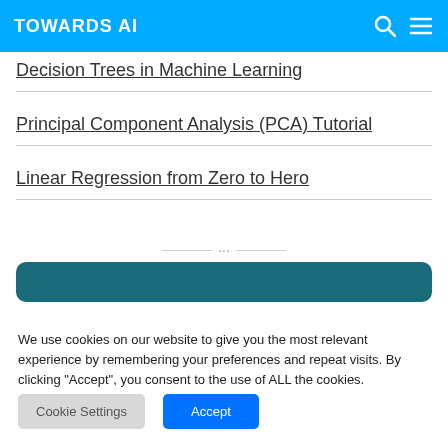TOWARDS AI
Decision Trees in Machine Learning
Principal Component Analysis (PCA) Tutorial
Linear Regression from Zero to Hero
[Figure (other): Horizontal divider with three dots in the center and lines on either side]
[Figure (other): Teal/dark cyan rounded banner element]
We use cookies on our website to give you the most relevant experience by remembering your preferences and repeat visits. By clicking “Accept”, you consent to the use of ALL the cookies.
Cookie Settings  Accept